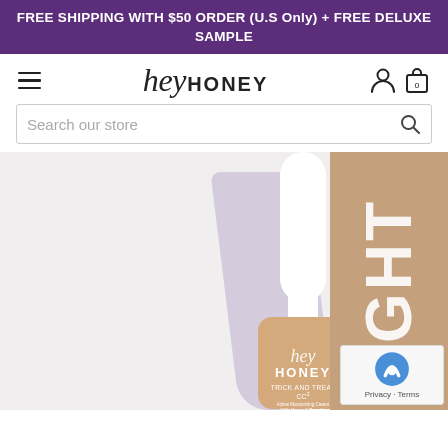FREE SHIPPING WITH $50 ORDER (U.S Only) + FREE DELUXE SAMPLE
[Figure (logo): Hey Honey brand logo with hamburger menu, account and bag icons]
[Figure (screenshot): Search bar with placeholder text 'Search our store' and search icon]
[Figure (photo): Hey Honey Trick and Treat CC2 Active Moisturizing Cream With Honey & Propolis bottle in light beige/nude shade, with product box showing LIGHT shade name, and reCAPTCHA badge overlay]